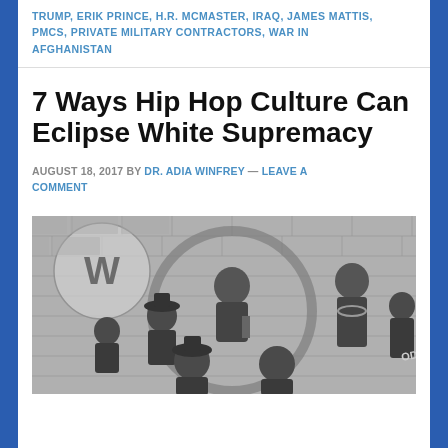TRUMP, ERIK PRINCE, H.R. MCMASTER, IRAQ, JAMES MATTIS, PMCS, PRIVATE MILITARY CONTRACTORS, WAR IN AFGHANISTAN
7 Ways Hip Hop Culture Can Eclipse White Supremacy
AUGUST 18, 2017 BY DR. ADIA WINFREY — LEAVE A COMMENT
[Figure (illustration): Black and white illustration of multiple hip hop artists, including figures wearing hats and chains, with Wu-Tang symbol in background, brick wall setting]